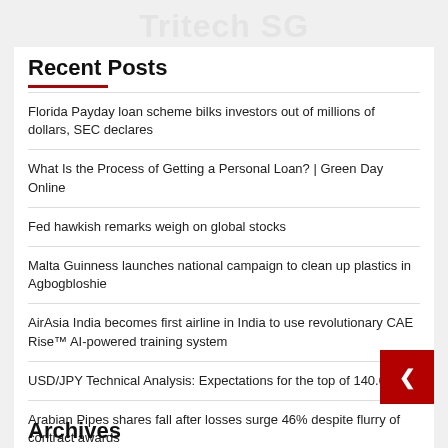Tritech SG
Recent Posts
Florida Payday loan scheme bilks investors out of millions of dollars, SEC declares
What Is the Process of Getting a Personal Loan? | Green Day Online
Fed hawkish remarks weigh on global stocks
Malta Guinness launches national campaign to clean up plastics in Agbogbloshie
AirAsia India becomes first airline in India to use revolutionary CAE Rise™ AI-powered training system
USD/JPY Technical Analysis: Expectations for the top of 140.00
Arabian Pipes shares fall after losses surge 46% despite flurry of contract awards
Archives